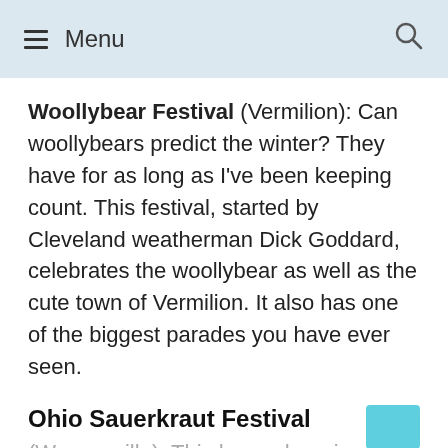Menu
Woollybear Festival (Vermilion): Can woollybears predict the winter? They have for as long as I've been keeping count. This festival, started by Cleveland weatherman Dick Goddard, celebrates the woollybear as well as the cute town of Vermilion. It also has one of the biggest parades you have ever seen.
Ohio Sauerkraut Festival
(Waynesville): This huge shopping festival also dishes out sauerkraut